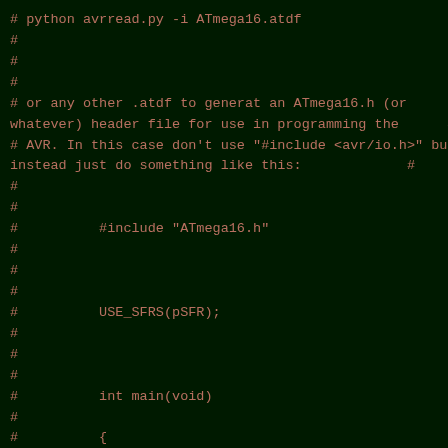[Figure (screenshot): Terminal/code editor screenshot showing Python script comments and code snippet on dark green background with brownish-red monospace text. Content shows: '# python avrread.py -i ATmega16.atdf', empty comment lines, '# or any other .atdf to generat an ATmega16.h (or whatever) header file for use in programming the #', '# AVR. In this case don\'t use "#include <avr/io.h>" but instead just do something like this:          #', empty comment lines, '#          #include "ATmega16.h"', empty comment lines, '#          USE_SFRS(pSFR);', empty comment lines, '#          int main(void)', '#', '#          {']